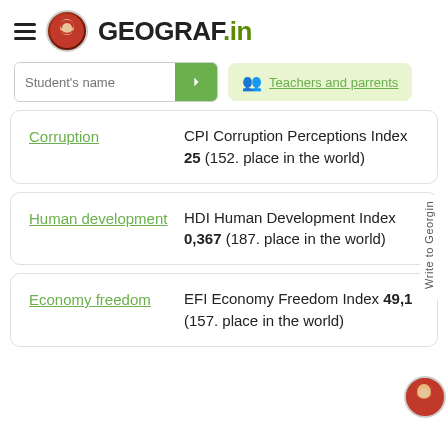GEOGRAF.in
Student's name
Teachers and parrents
| Category | Value |
| --- | --- |
| Corruption | CPI Corruption Perceptions Index 25 (152. place in the world) |
| Human development | HDI Human Development Index 0,367 (187. place in the world) |
| Economy freedom | EFI Economy Freedom Index 49,1 (157. place in the world) |